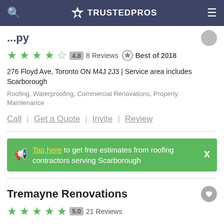TRUSTEDPROS
4.8  8 Reviews  Best of 2018
276 Floyd Ave, Toronto ON M4J 2J3 | Service area includes Scarborough
Roofing, Waterproofing, Commercial Renovations, Property Maintenance
Call | Get a Quote | Invite | Review
Tap here to get free estimates from roofing contractors serving Scarborough
Tremayne Renovations
5.0  21 Reviews